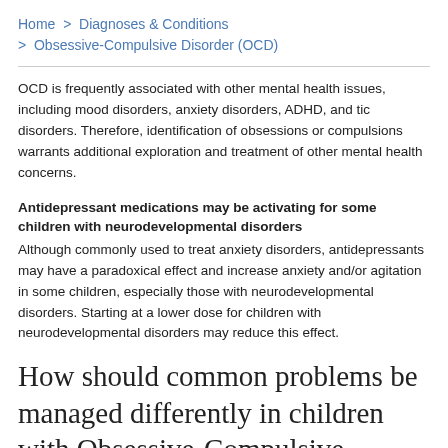Home > Diagnoses & Conditions > Obsessive-Compulsive Disorder (OCD)
OCD is frequently associated with other mental health issues, including mood disorders, anxiety disorders, ADHD, and tic disorders. Therefore, identification of obsessions or compulsions warrants additional exploration and treatment of other mental health concerns.
Antidepressant medications may be activating for some children with neurodevelopmental disorders
Although commonly used to treat anxiety disorders, antidepressants may have a paradoxical effect and increase anxiety and/or agitation in some children, especially those with neurodevelopmental disorders. Starting at a lower dose for children with neurodevelopmental disorders may reduce this effect.
How should common problems be managed differently in children with Obsessive-Compulsive Disorder (OCD)?